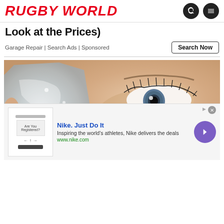RUGBY WORLD
Look at the Prices)
Garage Repair | Search Ads | Sponsored
[Figure (photo): Close-up photo of a person holding an ice cube against their face near their eye, with visible eyelashes and blue eye]
[Figure (photo): Nike advertisement banner: Nike. Just Do It. Inspiring the world's athletes, Nike delivers the deals. www.nike.com]